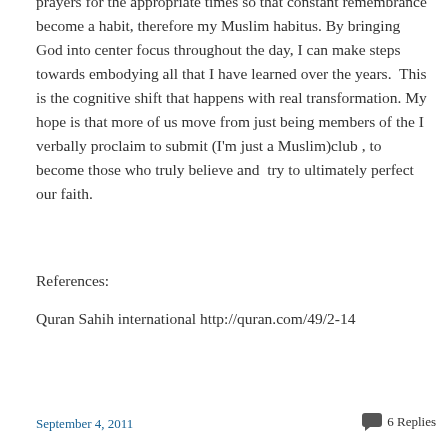prayers for the appropriate times so that constant remembrance become a habit, therefore my Muslim habitus. By bringing God into center focus throughout the day, I can make steps towards embodying all that I have learned over the years.  This is the cognitive shift that happens with real transformation. My hope is that more of us move from just being members of the I verbally proclaim to submit (I'm just a Muslim)club , to become those who truly believe and  try to ultimately perfect our faith.
References:
Quran Sahih international http://quran.com/49/2-14
http://en.wikipedia.org/wiki/Habitus_(sociology)
September 4, 2011   6 Replies